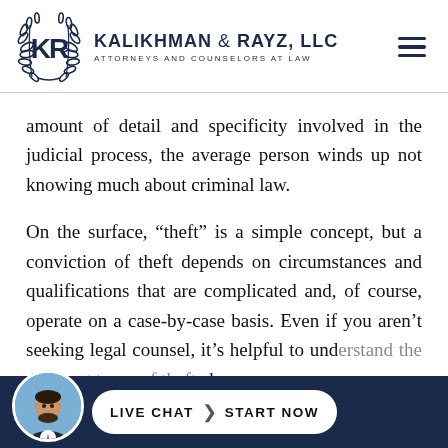[Figure (logo): Kalikhman & Rayz LLC logo with laurel wreath and KR monogram, navy blue]
Kalikhman & Rayz, LLC — Attorneys and Counselors at Law
amount of detail and specificity involved in the judicial process, the average person winds up not knowing much about criminal law.
On the surface, “theft” is a simple concept, but a conviction of theft depends on circumstances and qualifications that are complicated and, of course, operate on a case-by-case basis. Even if you aren’t seeking legal counsel, it’s helpful to understand the different types of theft charges
[Figure (photo): Circular avatar photo of a man in a suit with beard]
LIVE CHAT › START NOW